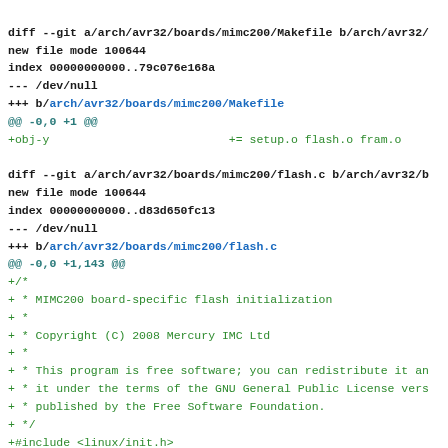diff --git a/arch/avr32/boards/mimc200/Makefile b/arch/avr32/
new file mode 100644
index 00000000000..79c076e168a
--- /dev/null
+++ b/arch/avr32/boards/mimc200/Makefile
@@ -0,0 +1 @@
+obj-y                          += setup.o flash.o fram.o

diff --git a/arch/avr32/boards/mimc200/flash.c b/arch/avr32/b
new file mode 100644
index 00000000000..d83d650fc13
--- /dev/null
+++ b/arch/avr32/boards/mimc200/flash.c
@@ -0,0 +1,143 @@
+/*
+ * MIMC200 board-specific flash initialization
+ *
+ * Copyright (C) 2008 Mercury IMC Ltd
+ *
+ * This program is free software; you can redistribute it an
+ * it under the terms of the GNU General Public License vers
+ * published by the Free Software Foundation.
+ */
+#include <linux/init.h>
+#include <linux/platform_device.h>
+#include <linux/mtd/mtd.h>